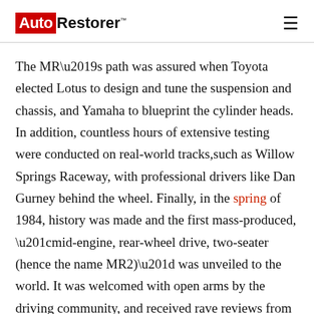AutoRestorer
The MR’s path was assured when Toyota elected Lotus to design and tune the suspension and chassis, and Yamaha to blueprint the cylinder heads. In addition, countless hours of extensive testing were conducted on real-world tracks,such as Willow Springs Raceway, with professional drivers like Dan Gurney behind the wheel. Finally, in the spring of 1984, history was made and the first mass-produced, “mid-engine, rear-wheel drive, two-seater (hence the name MR2)” was unveiled to the world. It was welcomed with open arms by the driving community, and received rave reviews from publications. Car and Driver...